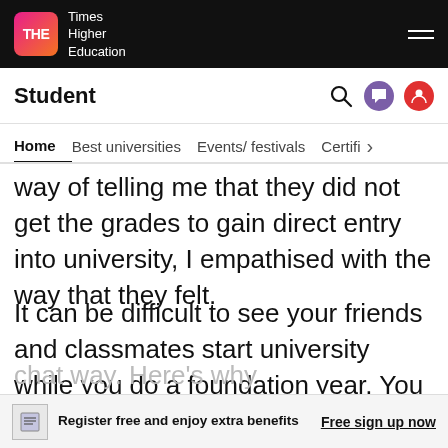THE Times Higher Education
Student
Home  Best universities  Events/ festivals  Certifi >
way of telling me that they did not get the grades to gain direct entry into university, I empathised with the way that they felt.
It can be difficult to see your friends and classmates start university while you do a foundation year. You may even feel embarrassed or ashamed of not doing as well as your friends and classmates. However, I'm
chat way. Here's why
Register free and enjoy extra benefits  Free sign up now